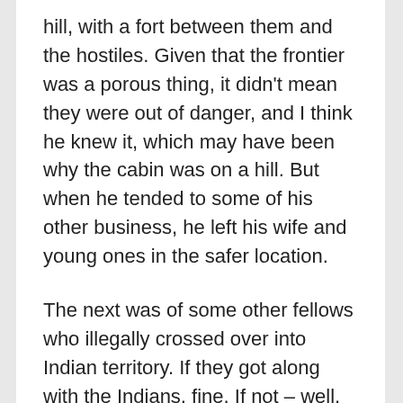hill, with a fort between them and the hostiles. Given that the frontier was a porous thing, it didn't mean they were out of danger, and I think he knew it, which may have been why the cabin was on a hill. But when he tended to some of his other business, he left his wife and young ones in the safer location.
The next was of some other fellows who illegally crossed over into Indian territory. If they got along with the Indians, fine, If not – well, the details aren't for the squeamish.
All made a decision based on calculated risk. I don't know what convinced them or other